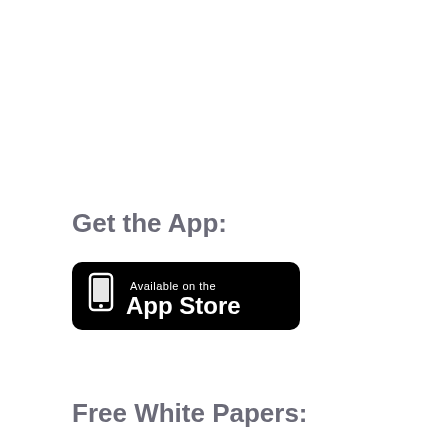Get the App:
[Figure (logo): Apple App Store badge: black rounded rectangle with a phone icon and text 'Available on the App Store']
Free White Papers: